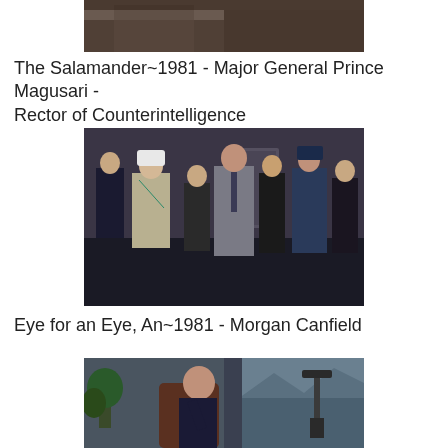[Figure (photo): Partial view of a scene, cropped at top — visible portion shows two people in close proximity, appears to be from a film still.]
The Salamander~1981 - Major General Prince Magusari - Rector of Counterintelligence
[Figure (photo): Film still showing a group of people standing in a formal setting. A man in a military uniform with sash stands prominently on the left, and a man in a grey suit stands in the center. Several other individuals in uniform and formal wear are visible.]
Eye for an Eye, An~1981 - Morgan Canfield
[Figure (photo): Film still showing a man seated in a leather chair in an office with large windows overlooking a coastal scene. A telescope on a tripod is visible to the right. A plant is visible on the left.]